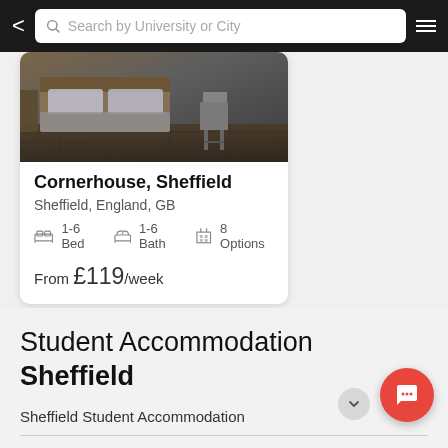Search by University or City
[Figure (photo): Bedroom interior photo showing a bed with grey bedding, dark wood flooring, and a metal stool/side table]
Cornerhouse, Sheffield
Sheffield, England, GB
1-6 Bed  1-6 Bath  8 Options
From £119/week
Student Accommodation Sheffield
Sheffield Student Accommodation
About Sheffield